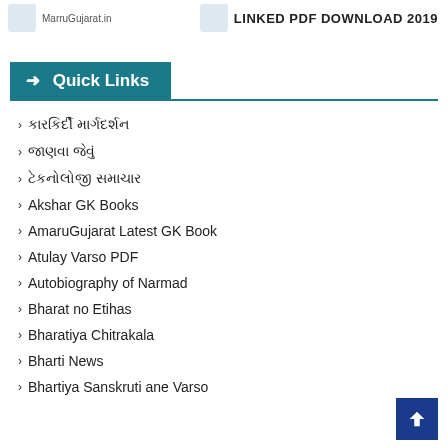MarruGujarat.in | LINKED PDF DOWNLOAD 2019
→ Quick Links
› કારકિર્દી માર્ગદર્શન
› જાણવા જેવું
› ટેકનોલોજી સમાચાર
› Akshar GK Books
› AmaruGujarat Latest GK Book
› Atulay Varso PDF
› Autobiography of Narmad
› Bharat no Etihas
› Bharatiya Chitrakala
› Bharti News
› Bhartiya Sanskruti ane Varso